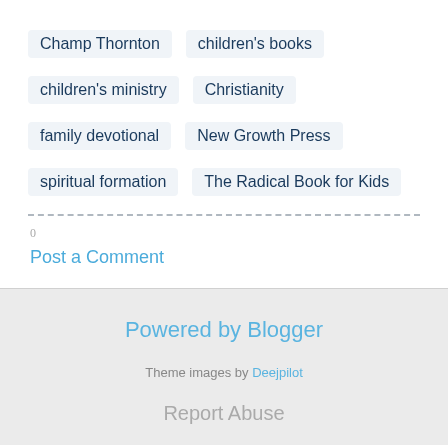Champ Thornton
children's books
children's ministry
Christianity
family devotional
New Growth Press
spiritual formation
The Radical Book for Kids
Post a Comment
Powered by Blogger
Theme images by Deejpilot
Report Abuse